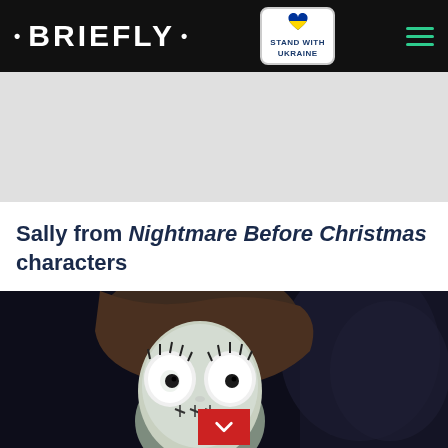• BRIEFLY •
[Figure (illustration): Grey advertisement placeholder area]
Sally from Nightmare Before Christmas characters
[Figure (photo): Close-up of Sally character from Nightmare Before Christmas — a rag doll with stitched face, large eyes, and dark hair, against a dark background]
Help Protect Ukrainian Families DONATE NOW